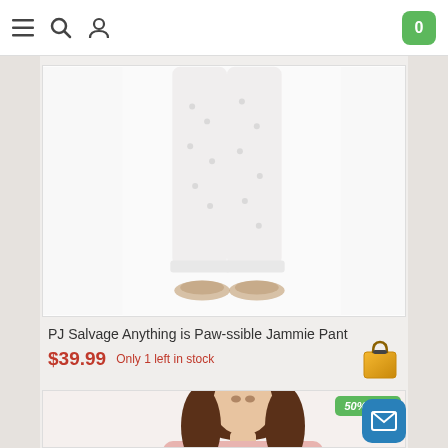[Figure (screenshot): E-commerce website navigation bar with hamburger menu, search icon, user icon on left, and green shopping cart badge showing 0 on right]
[Figure (photo): Product photo showing lower half of person wearing white patterned pajama pants with small prints, standing with bare feet slightly visible]
PJ Salvage Anything is Paw-ssible Jammie Pant
$39.99  Only 1 left in stock
[Figure (illustration): Orange/yellow shopping bag icon]
[Figure (photo): Product photo showing woman with long brown hair wearing a pink/blush top, cropped at top of frame. Green badge overlay reads '50% less']
[Figure (illustration): Blue rounded square button with white envelope/mail icon]